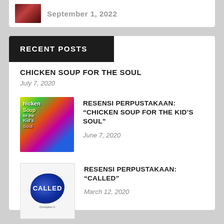September 1, 2022
RECENT POSTS
CHICKEN SOUP FOR THE SOUL
July 7, 2020
RESENSI PERPUSTAKAAN: “CHICKEN SOUP FOR THE KID’S SOUL”
June 7, 2020
RESENSI PERPUSTAKAAN: “CALLED”
March 12, 2020